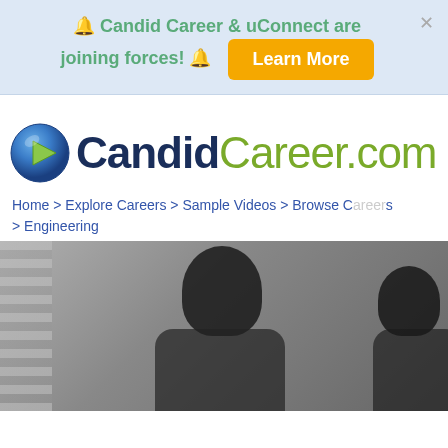🔔 Candid Career & uConnect are joining forces! 🔔  Learn More  ✕
[Figure (logo): CandidCareer.com logo with blue play button sphere and bold text]
Home > Explore Careers > Sample Videos > Browse Careers > Engineering
[Figure (photo): Video thumbnail showing a woman with dark hair, blurred background with curtains, and a second person partially visible on the right]